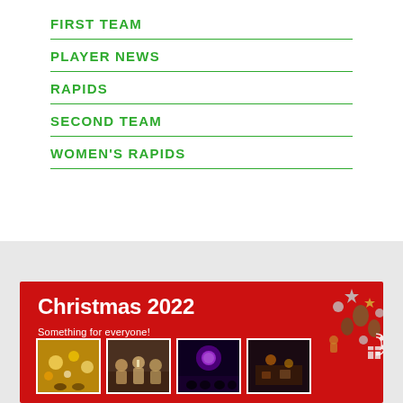FIRST TEAM
PLAYER NEWS
RAPIDS
SECOND TEAM
WOMEN'S RAPIDS
[Figure (photo): Christmas 2022 promotional banner with red background, 'Christmas 2022 - Something for everyone!' text, Christmas decorations (pinecones, stars, candy canes) in top-right corner, and four event photos along the bottom showing festive gatherings and nightclub scenes.]